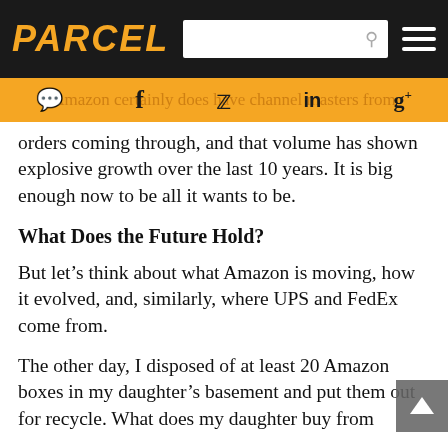PARCEL
[Figure (screenshot): Navigation bar with PARCEL logo, search box, and hamburger menu icon on dark background]
[Figure (screenshot): Orange social sharing bar with icons for chat/comments, Facebook, Twitter, LinkedIn, Google+, overlaid with faded text 'Amazon certainly does have channel masters from']
orders coming through, and that volume has shown explosive growth over the last 10 years. It is big enough now to be all it wants to be.
What Does the Future Hold?
But let’s think about what Amazon is moving, how it evolved, and, similarly, where UPS and FedEx come from.
The other day, I disposed of at least 20 Amazon boxes in my daughter’s basement and put them out for recycle. What does my daughter buy from